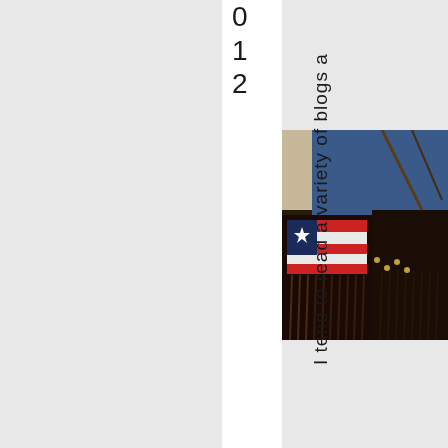0
1
2
[Figure (photo): Close-up photo of a person on horseback wearing western/cowboy gear including chaps with fringe and an American flag design, holding reins, with horse's mane visible]
I tend to read a variety of blogs a